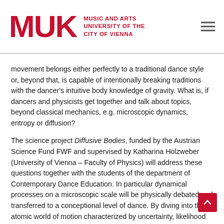[Figure (logo): MUK - Music and Arts University of the City of Vienna logo in red]
movement belongs either perfectly to a traditional dance style or, beyond that, is capable of intentionally breaking traditions with the dancer's intuitive body knowledge of gravity. What is, if dancers and physicists get together and talk about topics, beyond classical mechanics, e.g. microscopic dynamics, entropy or diffusion?
The science project Diffusive Bodies, funded by the Austrian Science Fund FWF and supervised by Katharina Holzweber (University of Vienna – Faculty of Physics) will address these questions together with the students of the department of Contemporary Dance Education. In particular dynamical processes on a microscopic scale will be physically debated and transferred to a conceptional level of dance. By diving into the atomic world of motion characterized by uncertainty, likelihood and fortuity, new improvisation approaches and movement qualities will arise eventually becoming the basis of a full-length dance piece. The collaborative project will b…